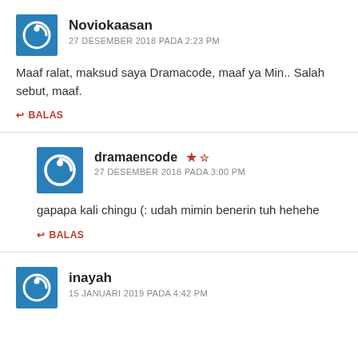Noviokaasan
27 DESEMBER 2018 PADA 2:23 PM
Maaf ralat, maksud saya Dramacode, maaf ya Min.. Salah sebut, maaf.
BALAS
dramaencode
27 DESEMBER 2018 PADA 3:00 PM
gapapa kali chingu (: udah mimin benerin tuh hehehe
BALAS
inayah
15 JANUARI 2019 PADA 4:42 PM